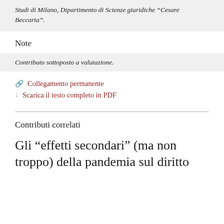Studi di Milano, Dipartimento di Scienze giuridiche “Cesare Beccaria”.
Note
Contributo sottoposto a valutazione.
Collegamento permanente
Scarica il testo completo in PDF
Contributi correlati
Gli “effetti secondari” (ma non troppo) della pandemia sul diritto